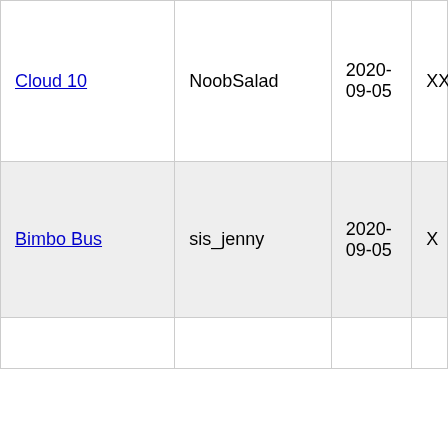| Cloud 10 | NoobSalad | 2020-09-05 | XXX |
| Bimbo Bus | sis_jenny | 2020-09-05 | X |
|  |  |  |  |